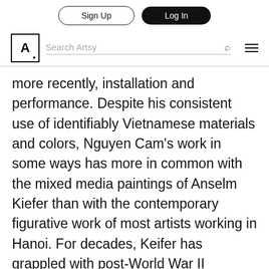Sign Up | Log In | Search Artsy
more recently, installation and performance. Despite his consistent use of identifiably Vietnamese materials and colors, Nguyen Cam's work in some ways has more in common with the mixed media paintings of Anselm Kiefer than with the contemporary figurative work of most artists working in Hanoi. For decades, Keifer has grappled with post-World War II German identity, confronting his country's socio-political history by interrogating how collective